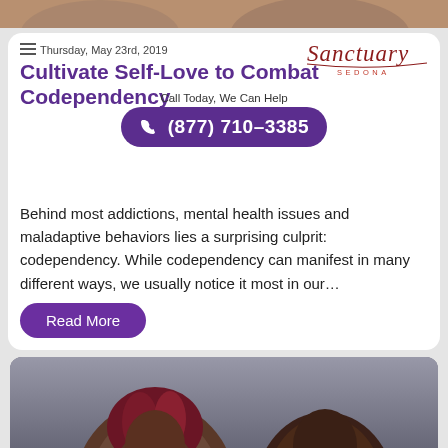[Figure (photo): Partial top photo strip showing people, cropped at top of page]
[Figure (logo): Sanctuary Sedona logo with script font and SEDONA text]
Thursday, May 23rd, 2019
Cultivate Self-Love to Combat Codependency
Call Today, We Can Help
(877) 710-3385
Behind most addictions, mental health issues and maladaptive behaviors lies a surprising culprit: codependency. While codependency can manifest in many different ways, we usually notice it most in our…
Read More
[Figure (photo): Photo of two people, woman with red/pink braids on left and man on right, cropped at bottom of page]